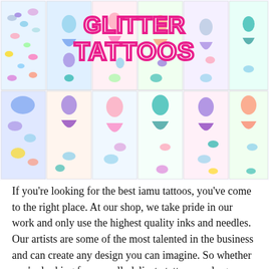[Figure (photo): Product image showing multiple sheets of glitter temporary tattoos for kids with mermaids, butterflies, and fantasy characters. Large decorative text at the top reads 'GLITTER TATTOOS' in pink bubble letters.]
If you're looking for the best iamu tattoos, you've come to the right place. At our shop, we take pride in our work and only use the highest quality inks and needles. Our artists are some of the most talented in the business and can create any design you can imagine. So whether you're looking for a small, delicate tattoo or a large, dramatic one, we can help you out.